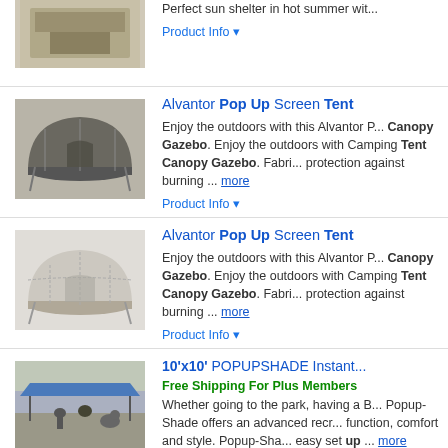[Figure (photo): Partial product image of a sun shelter/gazebo at top of page]
Perfect sun shelter in hot summer with...
Product Info ▼
Alvantor Pop Up Screen Tent
[Figure (photo): Alvantor Pop Up Screen Tent - dark dome shape with mesh walls]
Enjoy the outdoors with this Alvantor P... Canopy Gazebo. Enjoy the outdoors with Camping Tent Canopy Gazebo. Fabri... protection against burning ... more
Product Info ▼
Alvantor Pop Up Screen Tent
[Figure (photo): Alvantor Pop Up Screen Tent - light colored dome tent with mesh]
Enjoy the outdoors with this Alvantor P... Canopy Gazebo. Enjoy the outdoors with Camping Tent Canopy Gazebo. Fabri... protection against burning ... more
Product Info ▼
10'x10' POPUPSHADE Instant
Free Shipping For Plus Members
[Figure (photo): 10x10 blue popup canopy shade used outdoors with people and animals underneath]
Whether going to the park, having a B... Popup-Shade offers an advanced recr... function, comfort and style. Popup-Sha... easy set up ... more
Product Info ▼
10' x 10' Pop Up Removable S
[Figure (photo): 10x10 gray pop up canopy with removable sides]
□EASY TO ASSEMBLE □Pop up cano... easily complete the entire assembly it...